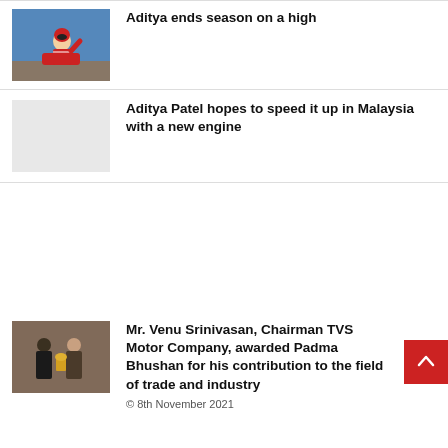[Figure (photo): Person in red racing suit giving thumbs up]
Aditya ends season on a high
[Figure (photo): Blank/placeholder image]
Aditya Patel hopes to speed it up in Malaysia with a new engine
[Figure (photo): Two people at award ceremony]
Mr. Venu Srinivasan, Chairman TVS Motor Company, awarded Padma Bhushan for his contribution to the field of trade and industry
© 8th November 2021